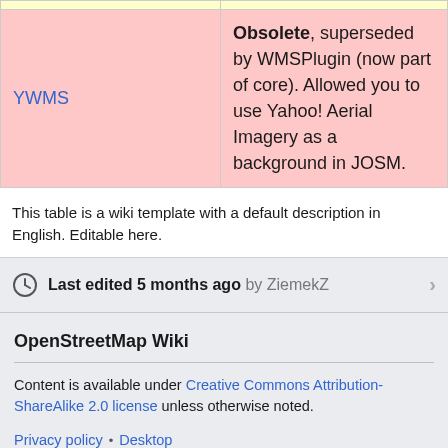|  |  |
| --- | --- |
| YWMS | Obsolete, superseded by WMSPlugin (now part of core). Allowed you to use Yahoo! Aerial Imagery as a background in JOSM. |
This table is a wiki template with a default description in English. Editable here.
Last edited 5 months ago by ZiemekZ
OpenStreetMap Wiki
Content is available under Creative Commons Attribution-ShareAlike 2.0 license unless otherwise noted.
Privacy policy • Desktop